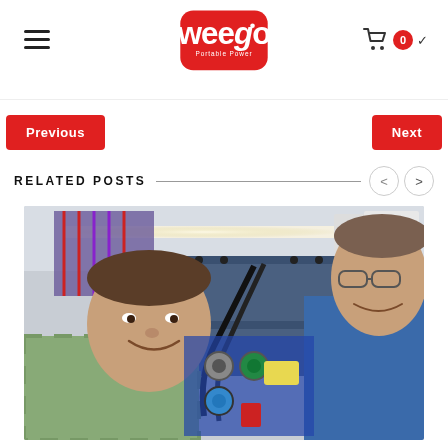Weego Portable Power — navigation header with hamburger menu and cart
Previous | Next
RELATED POSTS
[Figure (photo): Two men smiling in a workshop/lab with electronic equipment, wiring, tools, and yellow bins in the background, under a bright overhead light strip.]